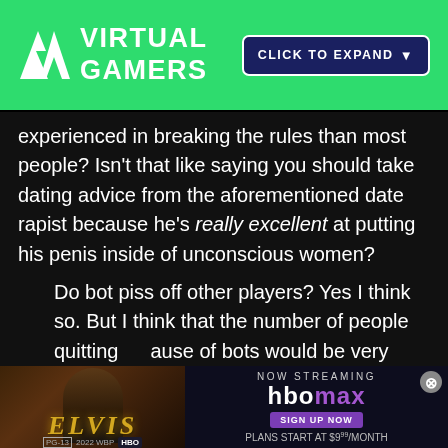[Figure (logo): Virtual Gamers logo with VR letters and a CLICK TO EXPAND button on green background]
experienced in breaking the rules than most people? Isn't that like saying you should take dating advice from the aforementioned date rapist because he's really excellent at putting his penis inside of unconscious women?
Do bot piss off other players? Yes I think so. But I think that the number of people quitting because of bots would be very hard to prove. Blizzard should do an exit poll for when people close their accounts. Maybe t... a...
[Figure (screenshot): ELVIS movie advertisement banner - NOW STREAMING on HBOMAX, SIGN UP NOW, PLANS START AT $9.99/MONTH]